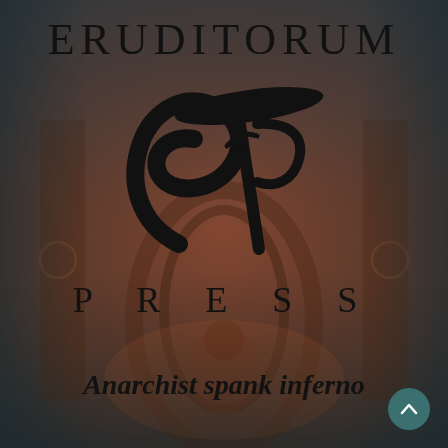[Figure (logo): Eruditorum Press logo page with background artwork showing reddish-brown mystical/infernal scene with ornate figures, overlaid with dark teal gradient edges. Center features large stylized 'EP' calligraphic logo in black. Text reads ERUDITORUM at top, PRESS below the logo, and 'Anarchist spank inferno' in bold italic at bottom.]
ERUDITORUM
PRESS
Anarchist spank inferno